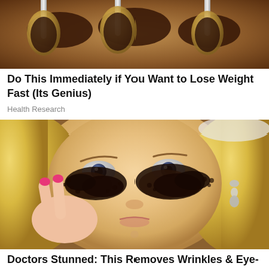[Figure (photo): Photo of spoons with food/liquid, possibly coffee or chocolate, viewed from above]
Do This Immediately if You Want to Lose Weight Fast (Its Genius)
Health Research
[Figure (photo): Woman with coffee grounds or dark substance applied under her eyes as a beauty treatment, holding finger to face, pink nails, earrings, blonde hair]
Doctors Stunned: This Removes Wrinkles & Eye-bags Like Crazy (Try Tonight)